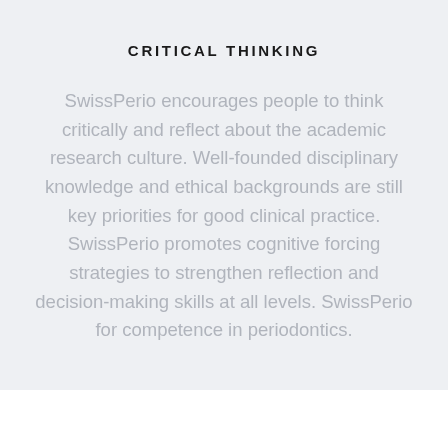CRITICAL THINKING
SwissPerio encourages people to think critically and reflect about the academic research culture. Well-founded disciplinary knowledge and ethical backgrounds are still key priorities for good clinical practice. SwissPerio promotes cognitive forcing strategies to strengthen reflection and decision-making skills at all levels. SwissPerio for competence in periodontics.